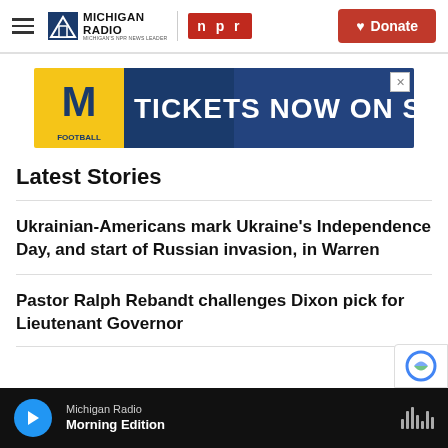Michigan Radio NPR — Donate
[Figure (screenshot): Michigan Football advertisement banner: University of Michigan 'M' logo, text 'TICKETS NOW ON SALE!' on dark blue background with stadium image]
Latest Stories
Ukrainian-Americans mark Ukraine's Independence Day, and start of Russian invasion, in Warren
Pastor Ralph Rebandt challenges Dixon pick for Lieutenant Governor
Michigan Radio — Morning Edition (player bar)